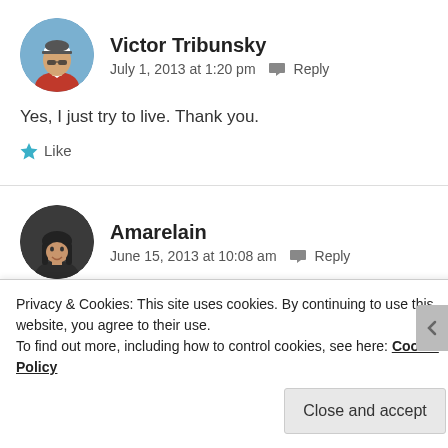Victor Tribunsky
July 1, 2013 at 1:20 pm  Reply
Yes, I just try to live. Thank you.
Like
Amarelain
June 15, 2013 at 10:08 am  Reply
Privacy & Cookies: This site uses cookies. By continuing to use this website, you agree to their use. To find out more, including how to control cookies, see here: Cookie Policy
Close and accept